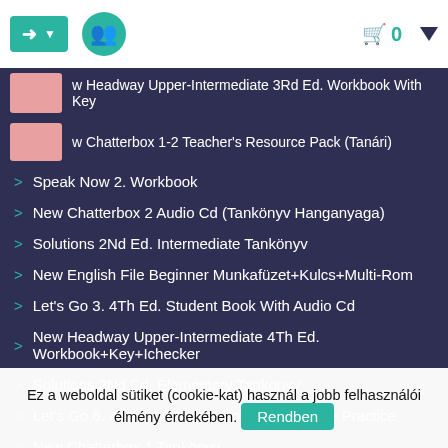Login | Group | Cart 0
w Headway Upper-Intermediate 3Rd Ed. Workbook With Key
w Chatterbox 1-2 Teacher's Resource Pack (Tanári)
Speak Now 2. Workbook
New Chatterbox 2 Audio Cd (Tankönyv Hanganyaga)
Solutions 2Nd Ed. Intermediate Tankönyv
New English File Beginner Munkafüzet+Kulcs+Multi-Rom
Let's Go 3. 4Th Ed. Student Book With Audio Cd
New Headway Upper-Intermediate 4Th Ed. Workbook+Key+Ichecker
Solutions 2Nd Ed. Elementary Tankönyv
Let's Go 6. 4Th Ed. Student Book With Online Practice
New Chatterbox 1 Tankönyv
New Headway Upper-Intermediate 3Rd Ed. Teacher's Book
Let's Go 4Th Ed. ...
Ez a weboldal sütiket (cookie-kat) használ a jobb felhasználói élmény érdekében.
Rendben